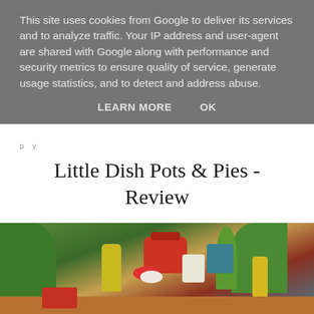This site uses cookies from Google to deliver its services and to analyze traffic. Your IP address and user-agent are shared with Google along with performance and security metrics to ensure quality of service, generate usage statistics, and to detect and address abuse.
LEARN MORE   OK
Little Dish Pots & Pies - Review
As a busy mum of two I can be partial to feeding my children a child-tailored ready meal, especially when we've had a busy day out. We loved Little Dish's previous range so I was so excited to hear that they were launching a Pots & Pies range too.
[Figure (photo): Colorful kitchen scene with pots, bowls, plants, spice grinders, and various cookware on a countertop]